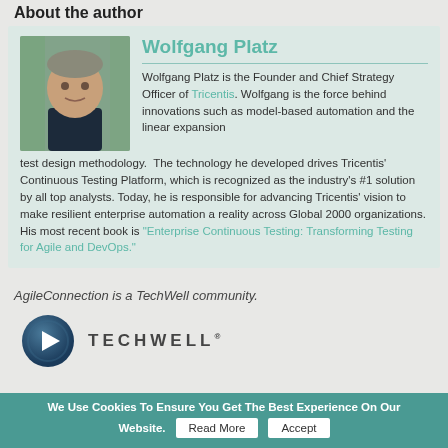About the author
[Figure (photo): Headshot photo of Wolfgang Platz, a middle-aged man with short gray-brown hair, wearing a dark hoodie, outdoors with blurred green background]
Wolfgang Platz
Wolfgang Platz is the Founder and Chief Strategy Officer of Tricentis. Wolfgang is the force behind innovations such as model-based automation and the linear expansion test design methodology. The technology he developed drives Tricentis' Continuous Testing Platform, which is recognized as the industry's #1 solution by all top analysts. Today, he is responsible for advancing Tricentis' vision to make resilient enterprise automation a reality across Global 2000 organizations. His most recent book is “Enterprise Continuous Testing: Transforming Testing for Agile and DevOps.”
AgileConnection is a TechWell community.
[Figure (logo): TechWell logo: circular dark blue/teal icon with a play button triangle, next to the text TECHWELL in spaced capital letters]
We Use Cookies To Ensure You Get The Best Experience On Our Website. Read More Accept